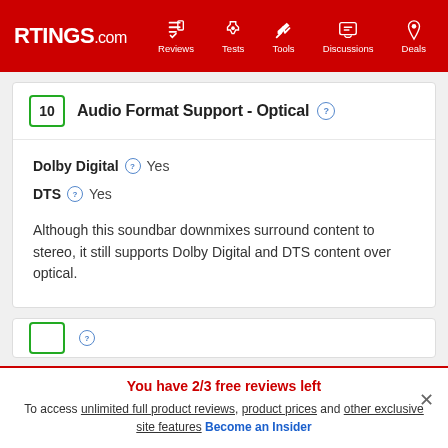RTINGS.com | Reviews | Tests | Tools | Discussions | Deals
10 Audio Format Support - Optical
Dolby Digital  Yes
DTS  Yes
Although this soundbar downmixes surround content to stereo, it still supports Dolby Digital and DTS content over optical.
You have 2/3 free reviews left
To access unlimited full product reviews, product prices and other exclusive site features Become an Insider